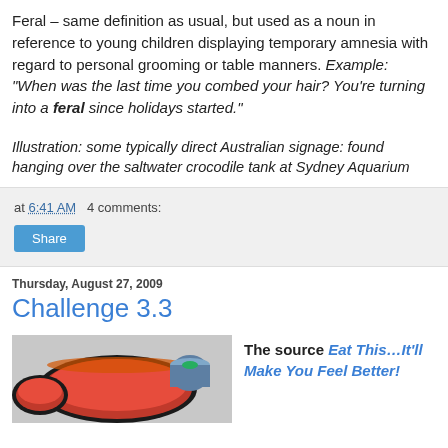Feral – same definition as usual, but used as a noun in reference to young children displaying temporary amnesia with regard to personal grooming or table manners. Example: “When was the last time you combed your hair? You’re turning into a feral since holidays started.”
Illustration: some typically direct Australian signage: found hanging over the saltwater crocodile tank at Sydney Aquarium
at 6:41 AM   4 comments:
Share
Thursday, August 27, 2009
Challenge 3.3
[Figure (photo): Photo of food dish, appears to show a bowl of red tomato soup or sauce with other dishes on a table]
The source Eat This…It’ll Make You Feel Better!